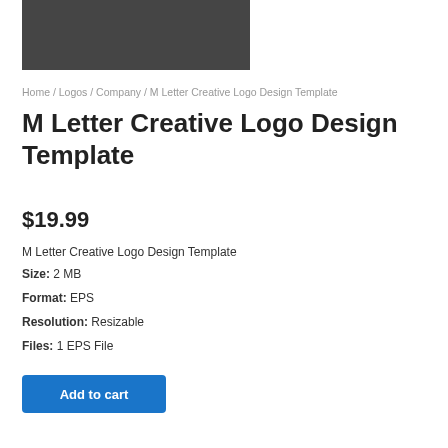[Figure (other): Dark gray rectangular image placeholder for M Letter Creative Logo Design Template]
Home / Logos / Company / M Letter Creative Logo Design Template
M Letter Creative Logo Design Template
$19.99
M Letter Creative Logo Design Template
Size: 2 MB
Format: EPS
Resolution: Resizable
Files: 1 EPS File
Add to cart